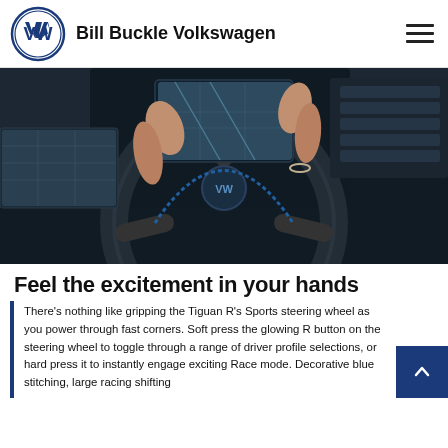Bill Buckle Volkswagen
[Figure (photo): Close-up interior shot of a person gripping a Volkswagen Tiguan R Sports steering wheel, showing the center console with touchscreen navigation display and side infotainment screen]
Feel the excitement in your hands
There's nothing like gripping the Tiguan R's Sports steering wheel as you power through fast corners. Soft press the glowing R button on the steering wheel to toggle through a range of driver profile selections, or hard press it to instantly engage exciting Race mode. Decorative blue stitching, large racing shifting